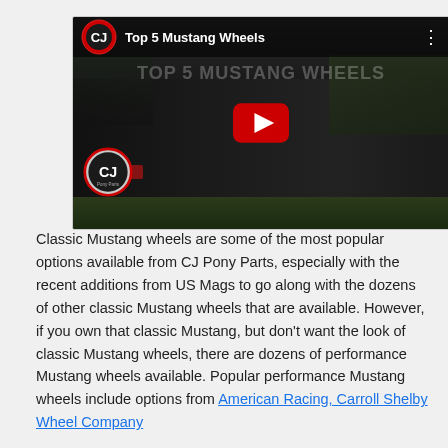[Figure (screenshot): YouTube video thumbnail showing 'Top 5 Mustang Wheels' — a black Mustang car on a dark background with a large red YouTube play button in the center. CJ Pony Parts logo (red circle with CJ letters) in top-left corner and bottom-left corner of the video frame.]
Classic Mustang wheels are some of the most popular options available from CJ Pony Parts, especially with the recent additions from US Mags to go along with the dozens of other classic Mustang wheels that are available. However, if you own that classic Mustang, but don't want the look of classic Mustang wheels, there are dozens of performance Mustang wheels available. Popular performance Mustang wheels include options from American Racing, Carroll Shelby Wheel Company